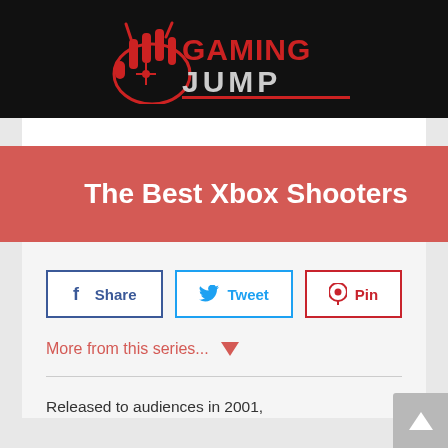[Figure (logo): Gaming Jump logo — red stylized hand/gamepad icon with 'GAMING JUMP' text in red and white on black background]
The Best Xbox Shooters
[Figure (infographic): Social sharing buttons: Share (Facebook, blue border), Tweet (Twitter, light blue border), Pin (Pinterest, red border)]
More from this series...
Released to audiences in 2001,